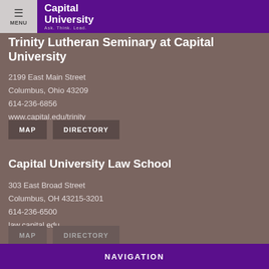Capital University — Ask. Think. Lead.
Trinity Lutheran Seminary at Capital University
2199 East Main Street
Columbus, Ohio 43209
614-236-6856
www.capital.edu/trinity
MAP
DIRECTORY
Capital University Law School
303 East Broad Street
Columbus, OH 43215-3201
614-236-6500
law.capital.edu
NAVIGATION